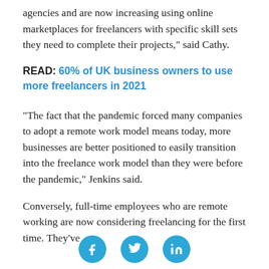agencies and are now increasing using online marketplaces for freelancers with specific skill sets they need to complete their projects," said Cathy.
READ: 60% of UK business owners to use more freelancers in 2021
"The fact that the pandemic forced many companies to adopt a remote work model means today, more businesses are better positioned to easily transition into the freelance work model than they were before the pandemic," Jenkins said.
Conversely, full-time employees who are remote working are now considering freelancing for the first time. They've
[Figure (other): Social media sharing icons for Facebook, Twitter, and LinkedIn]